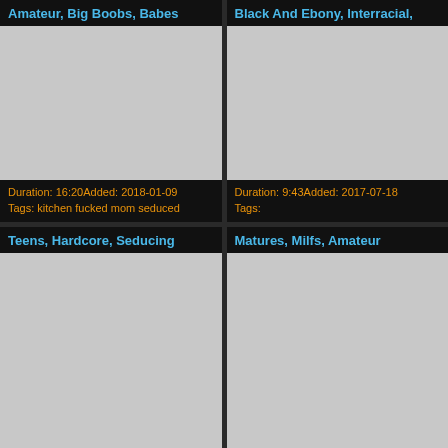Amateur, Big Boobs, Babes
[Figure (photo): Video thumbnail placeholder (gray rectangle)]
Duration: 16:20Added: 2018-01-09
Tags: kitchen fucked mom seduced
Black And Ebony, Interracial,
[Figure (photo): Video thumbnail placeholder (gray rectangle)]
Duration: 9:43Added: 2017-07-18
Tags:
Teens, Hardcore, Seducing
[Figure (photo): Video thumbnail placeholder (gray rectangle)]
Matures, Milfs, Amateur
[Figure (photo): Video thumbnail placeholder (gray rectangle)]